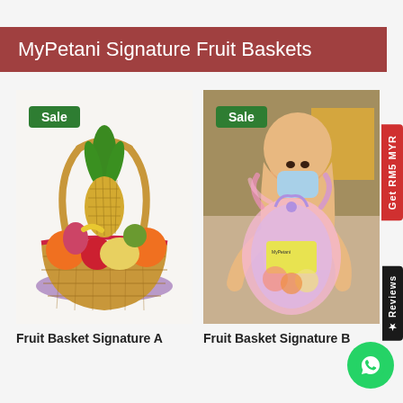MyPetani Signature Fruit Baskets
[Figure (photo): Fruit basket with pineapple, oranges, apples, and other fruits in a woven basket with a 'Sale' badge]
[Figure (photo): Person in hijab and mask holding a wrapped fruit basket gift with pink/purple wrapping and a 'Sale' badge]
Fruit Basket Signature A
Fruit Basket Signature B